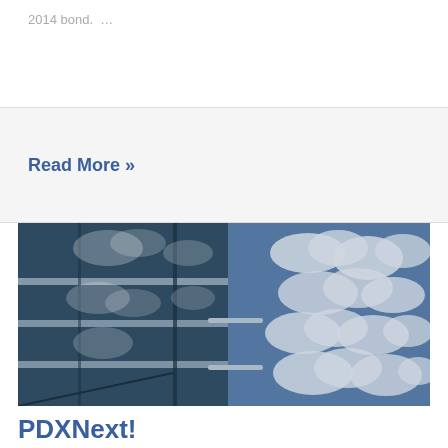2014 bond.  …
Read More »
[Figure (photo): Glass facade of a modern building reflecting a blue sky with white clouds]
PDXNext!